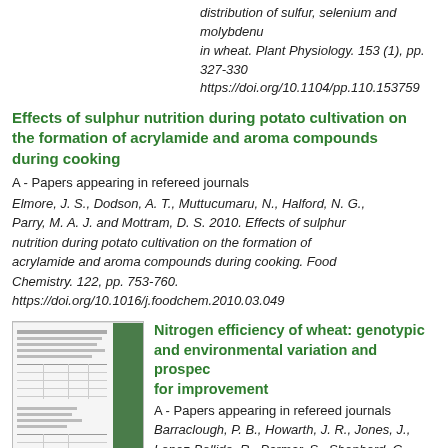distribution of sulfur, selenium and molybdenum in wheat. Plant Physiology. 153 (1), pp. 327-336. https://doi.org/10.1104/pp.110.153759
Effects of sulphur nutrition during potato cultivation on the formation of acrylamide and aroma compounds during cooking
A - Papers appearing in refereed journals
Elmore, J. S., Dodson, A. T., Muttucumaru, N., Halford, N. G., Parry, M. A. J. and Mottram, D. S. 2010. Effects of sulphur nutrition during potato cultivation on the formation of acrylamide and aroma compounds during cooking. Food Chemistry. 122, pp. 753-760. https://doi.org/10.1016/j.foodchem.2010.03.049
[Figure (screenshot): Thumbnail image of a journal article page showing tables and text]
Nitrogen efficiency of wheat: genotypic and environmental variation and prospects for improvement
A - Papers appearing in refereed journals
Barraclough, P. B., Howarth, J. R., Jones, J., Lopez-Bellido, R., Parmar, S., Shepherd, C.